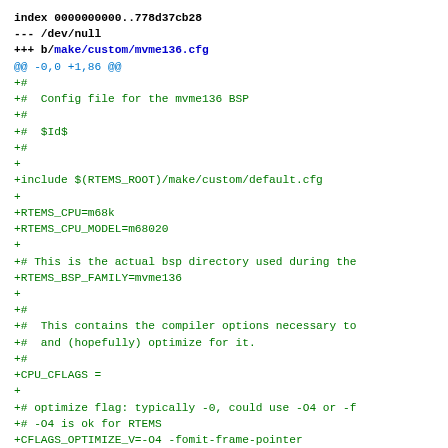index 0000000000..778d37cb28
--- /dev/null
+++ b/make/custom/mvme136.cfg
@@ -0,0 +1,86 @@
+#
+#  Config file for the mvme136 BSP
+#
+#  $Id$
+#
+
+include $(RTEMS_ROOT)/make/custom/default.cfg
+
+RTEMS_CPU=m68k
+RTEMS_CPU_MODEL=m68020
+
+# This is the actual bsp directory used during the
+RTEMS_BSP_FAMILY=mvme136
+
+#
+#  This contains the compiler options necessary to
+#  and (hopefully) optimize for it.
+#
+CPU_CFLAGS =
+
+# optimize flag: typically -0, could use -O4 or -f
+# -O4 is ok for RTEMS
+CFLAGS_OPTIMIZE_V=-O4 -fomit-frame-pointer
+
+# Define this to yes if this target supports multi
+HAS_MP=yes